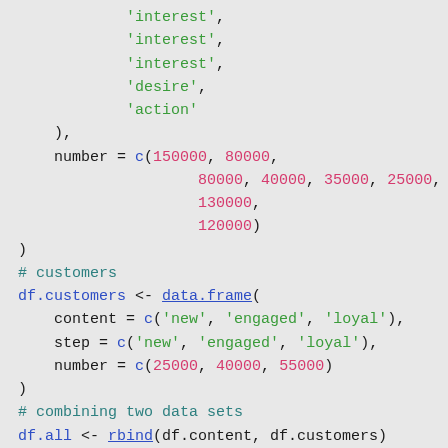R code snippet showing data frame creation with funnel/customer step data